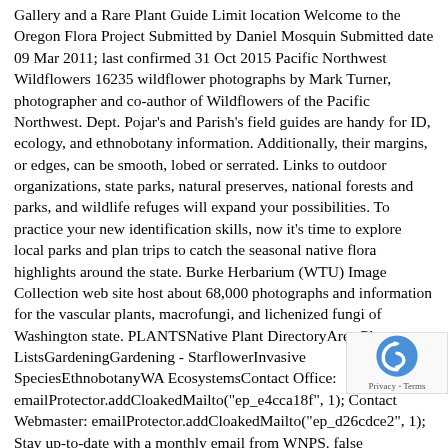Gallery and a Rare Plant Guide Limit location Welcome to the Oregon Flora Project Submitted by Daniel Mosquin Submitted date 09 Mar 2011; last confirmed 31 Oct 2015 Pacific Northwest Wildflowers 16235 wildflower photographs by Mark Turner, photographer and co-author of Wildflowers of the Pacific Northwest. Dept. Pojar's and Parish's field guides are handy for ID, ecology, and ethnobotany information. Additionally, their margins, or edges, can be smooth, lobed or serrated. Links to outdoor organizations, state parks, natural preserves, national forests and parks, and wildlife refuges will expand your possibilities. To practice your new identification skills, now it's time to explore local parks and plan trips to catch the seasonal native flora highlights around the state. Burke Herbarium (WTU) Image Collection web site host about 68,000 photographs and information for the vascular plants, macrofungi, and lichenized fungi of Washington state. PLANTSNative Plant DirectoryArea Plant ListsGardeningGardening - StarflowerInvasive SpeciesEthnobotanyWA EcosystemsContact Office: emailProtector.addCloakedMailto("ep_e4cca18f", 1); Contact Webmaster: emailProtector.addCloakedMailto("ep_d26cdce2", 1); Stay up-to-date with a monthly email from WNPS. false solomon's-seal. western hemlock growing on western redcedar stump. The Pacific Northwest is home to many species of evergreen and deciduous plants. The University of Washington Herbarium and its partners have released plant identification for the wildflowers of Washington (1,021 species) and Idaho (810
[Figure (other): reCAPTCHA badge with blue arrow logo and 'Privacy - Terms' text]